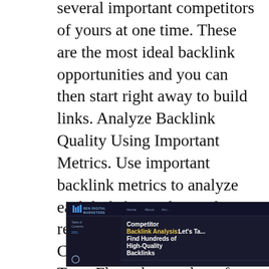several important competitors of yours at one time. These are the most ideal backlink opportunities and you can then start right away to build links. Analyze Backlink Quality Using Important Metrics. Use important backlink metrics to analyze each link for quality and relevance: URL Trust Flow, Citation Flow and Domain Trust Flow, the number of inbound/outbound links, Domain Primary Topic and Topical Trust Flow all powered by Majestic. WebCEOs Competitors Backlink tool also provides you with the Alexa Traffic Rank, domain IP address, backlink text and the other backlink info.
[Figure (screenshot): Screenshot of a dark-themed webpage titled 'Competitor Backlink Analysis: Let's Find Hundreds of High-Quality Backlinks' from BEN Digital Marketers website, showing navigation menu, table of contents, and a video thumbnail.]